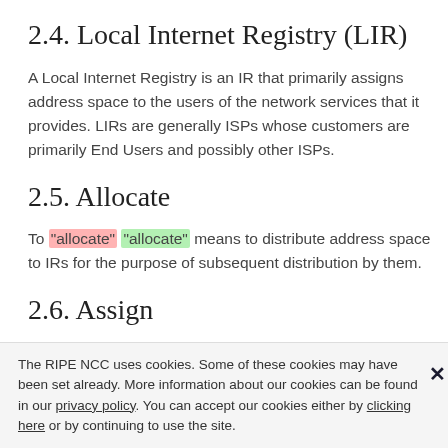2.4. Local Internet Registry (LIR)
A Local Internet Registry is an IR that primarily assigns address space to the users of the network services that it provides. LIRs are generally ISPs whose customers are primarily End Users and possibly other ISPs.
2.5. Allocate
To "allocate" "allocate" means to distribute address space to IRs for the purpose of subsequent distribution by them.
2.6. Assign
To "assign" "assign" means to delegate address
The RIPE NCC uses cookies. Some of these cookies may have been set already. More information about our cookies can be found in our privacy policy. You can accept our cookies either by clicking here or by continuing to use the site.